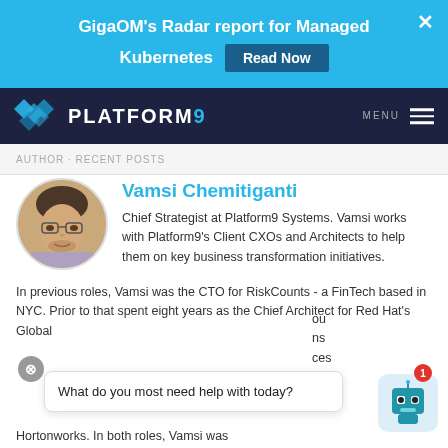GigaOM's Radar report for Managed Kubernetes  Read Now
[Figure (logo): Platform9 logo with diamond shapes and text PLATFORM9 on dark navy navigation bar]
AUTHOR · RECENT POSTS
Vamsi Chemitiganti
[Figure (photo): Circular profile photo of Vamsi Chemitiganti, a man wearing glasses and a checkered shirt]
Chief Strategist at Platform9 Systems. Vamsi works with Platform9's Client CXOs and Architects to help them on key business transformation initiatives.
In previous roles, Vamsi was the CTO for RiskCounts - a FinTech based in NYC. Prior to that spent eight years as the Chief Architect for Red Hat's Global
What do you most need help with today?